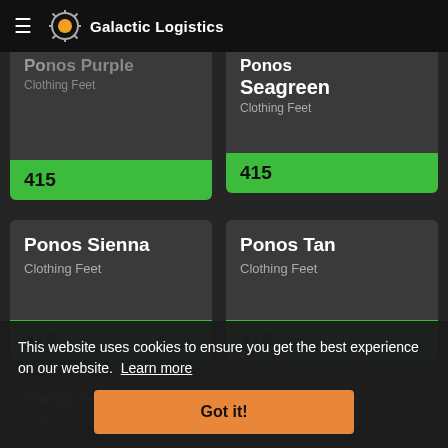Galactic Logistics
Ponos Purple
Clothing Feet
415
Ponos Seagreen
Clothing Feet
415
Ponos Sienna
Clothing Feet
415
Ponos Tan
Clothing Feet
415
Ponos Twilight
Clothing
Ponos Violet
Clothing Feet
This website uses cookies to ensure you get the best experience on our website. Learn more
Got it!